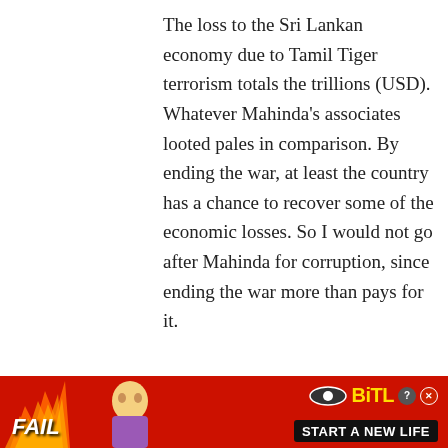The loss to the Sri Lankan economy due to Tamil Tiger terrorism totals the trillions (USD). Whatever Mahinda’s associates looted pales in comparison. By ending the war, at least the country has a chance to recover some of the economic losses. So I would not go after Mahinda for corruption, since ending the war more than pays for it.
[Figure (other): User avatar icon with teal/dark teal geometric pattern of diamonds and cross shapes on a square background]
Bensen Berner / February 14, 2020
[Figure (other): Green thumbs-up button showing count 1, red thumbs-down button showing count 0, and a dark close/scroll button on the right]
[Figure (other): BitLife advertisement banner with red background, flame graphics, cartoon character, and text FAIL and START A NEW LIFE]